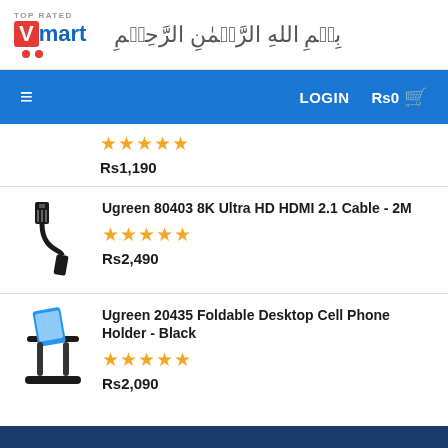TOP RATED mart [Arabic Bismillah text]
≡  LOGIN  Rs0 🛒
★★★★★  Rs1,190
Ugreen 80403 8K Ultra HD HDMI 2.1 Cable - 2M  ★★★★★  Rs2,490
Ugreen 20435 Foldable Desktop Cell Phone Holder - Black  ★★★★★  Rs2,090